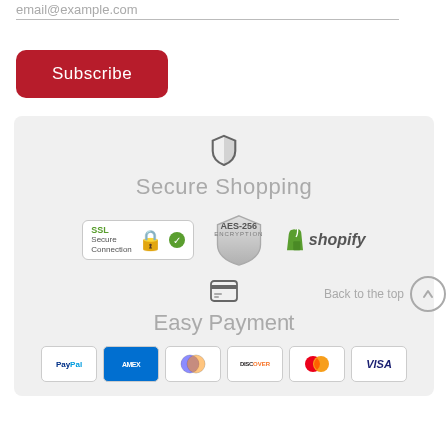email@example.com
Subscribe
[Figure (infographic): Secure Shopping section with shield icon, SSL Secure Connection badge, AES-256 Encryption shield badge, and Shopify logo]
Secure Shopping
[Figure (infographic): Easy Payment section with credit card icon and payment logos: PayPal, AMEX, Diners Club, Discover, Mastercard, Visa]
Easy Payment
Back to the top